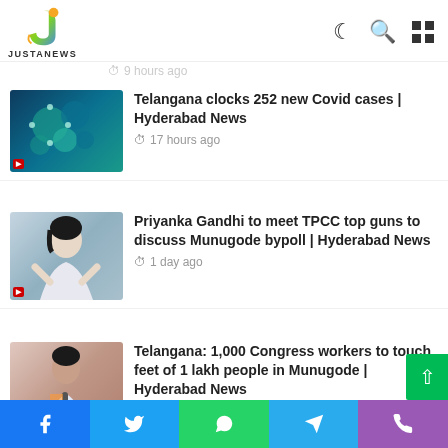JUSTANEWS
9 hours ago
Telangana clocks 252 new Covid cases | Hyderabad News
17 hours ago
Priyanka Gandhi to meet TPCC top guns to discuss Munugode bypoll | Hyderabad News
1 day ago
Telangana: 1,000 Congress workers to touch feet of 1 lakh people in Munugode | Hyderabad News
1 day ago